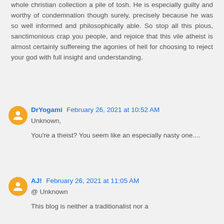whole christian collection a pile of tosh. He is especially guilty and worthy of condemnation though surely, precisely because he was so well informed and philosophically able. So stop all this pious, sanctimonious crap you people, and rejoice that this vile atheist is almost certainly suffereing the agonies of hell for choosing to reject your god with full insight and understanding.
DrYogami February 26, 2021 at 10:52 AM
Unknown,
You're a theist? You seem like an especially nasty one....
AJ! February 26, 2021 at 11:05 AM
@ Unknown
This blog is neither a traditionalist nor a